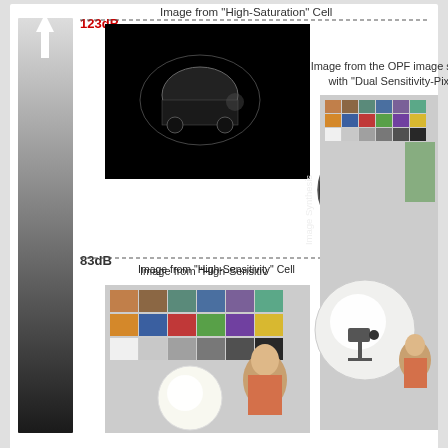[Figure (infographic): Diagram showing image synthesis from 'High-Saturation' Cell (123dB) and 'High-Sensitivity' Cell (83dB) combined into an image from the OPF image sensor with 'Dual Sensitivity-Pixel'. Left side shows a gradient bar from dark (83dB) to bright (123dB), with two smaller images (a dark car scene and a colorful scene with a doll) being synthesized (arrow with 'Image Synthesis' label) into a larger combined image on the right showing both proper color reproduction and bright areas.]
Panasonic Develops: Industry-First 123dB (Decibels) Simultaneous-Capture Wide Dynamic Range is 100 Times Wider Than That of Common Silicon Image Sensors, Via a CMOS Image Sensor with an Organic Photoconductive Film: To Achieve Richer Color Tone and High-Speed, High-Precision Imaging without Time Distortion in High-Contrast